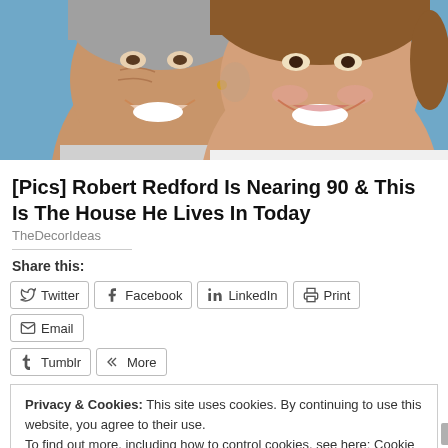[Figure (photo): Close-up photo of an older smiling couple, man on left with wrinkled face, woman on right with makeup, both smiling broadly against a blue background]
[Pics] Robert Redford Is Nearing 90 & This Is The House He Lives In Today
TheDecorIdeas
Share this:
Twitter Facebook LinkedIn Print Email Tumblr More
Privacy & Cookies: This site uses cookies. By continuing to use this website, you agree to their use.
To find out more, including how to control cookies, see here: Cookie Policy
Close and accept